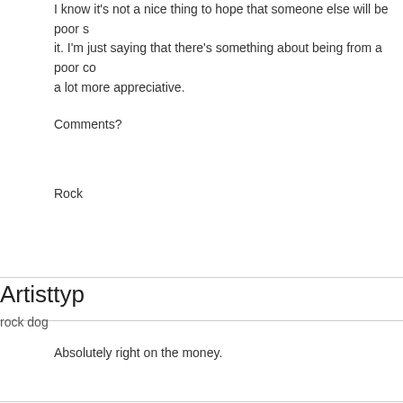I know it's not a nice thing to hope that someone else will be poor s it. I'm just saying that there's something about being from a poor co a lot more appreciative.
Comments?
Rock
Artisttyp
rock dog
Absolutely right on the money.
Member #4351
Argentina has poverty, and plenty of it.
Bart9000
Poverty